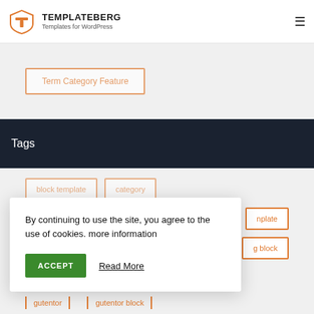TEMPLATEBERG Templates for WordPress
Term Category Feature
Tags
block template   category
nplate
g block
By continuing to use the site, you agree to the use of cookies. more information
ACCEPT   Read More
gutentor   gutentor block